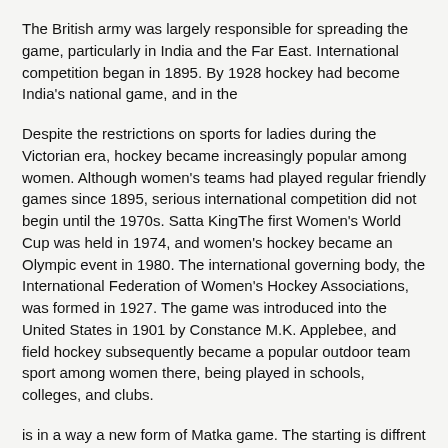The British army was largely responsible for spreading the game, particularly in India and the Far East. International competition began in 1895. By 1928 hockey had become India's national game, and in the
Despite the restrictions on sports for ladies during the Victorian era, hockey became increasingly popular among women. Although women's teams had played regular friendly games since 1895, serious international competition did not begin until the 1970s. Satta KingThe first Women's World Cup was held in 1974, and women's hockey became an Olympic event in 1980. The international governing body, the International Federation of Women's Hockey Associations, was formed in 1927. The game was introduced into the United States in 1901 by Constance M.K. Applebee, and field hockey subsequently became a popular outdoor team sport among women there, being played in schools, colleges, and clubs.
is in a way a new form of Matka game. The starting is diffrent for every Satta King and closing time also different of the betting game is fixed.Olympic Games that year the Indian team, competing for the first time, won the gold medal without conceding a goal in five matches. It was the start of India's domination of the sport, an era that ended only with the emergence of Pakistan in the late 1940s. The call for more international matches led to the introduction in 1971 of the World Cup. Other major international tournaments include the Asian Cup, SattaKing Asian Games,